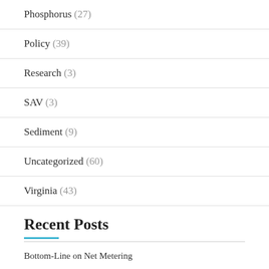Phosphorus (27)
Policy (39)
Research (3)
SAV (3)
Sediment (9)
Uncategorized (60)
Virginia (43)
Recent Posts
Bottom-Line on Net Metering
Greenhouse Gas Inventory in Fairfax County, Virginia